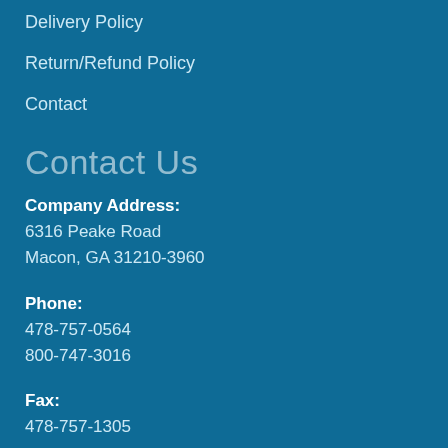Delivery Policy
Return/Refund Policy
Contact
Contact Us
Company Address:
6316 Peake Road
Macon, GA 31210-3960
Phone:
478-757-0564
800-747-3016
Fax:
478-757-1305
Hours of Operation: